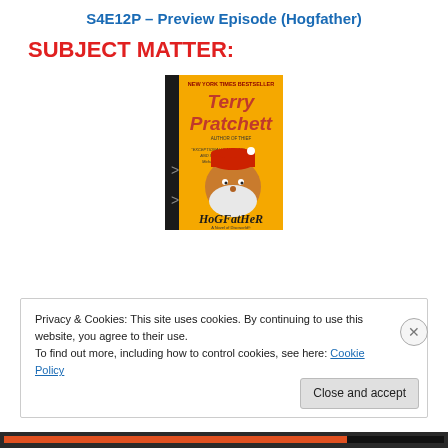S4E12P – Preview Episode (Hogfather)
SUBJECT MATTER:
[Figure (photo): Book cover of 'Hogfather' by Terry Pratchett — yellow cover with an illustration of a Santa-like figure with a red hat and white beard, 'NEW YORK TIMES BESTSELLER' at top, title at bottom in stylized font reading 'HoGFatHeR', subtitle 'A Novel of Discworld']
Privacy & Cookies: This site uses cookies. By continuing to use this website, you agree to their use.
To find out more, including how to control cookies, see here: Cookie Policy